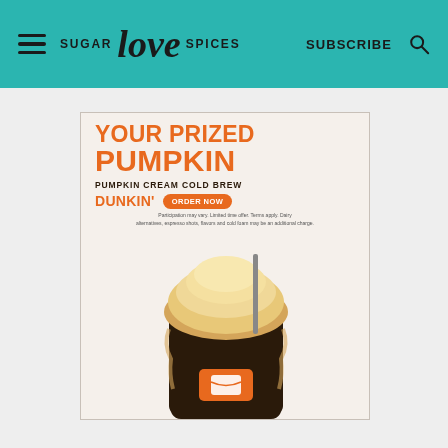SUGAR love SPICES | SUBSCRIBE
[Figure (illustration): Dunkin' advertisement for Pumpkin Cream Cold Brew. Orange bold text reads 'YOUR PRIZED PUMPKIN'. Subheading: 'PUMPKIN CREAM COLD BREW'. Dunkin' logo with 'ORDER NOW' button. Fine print: 'Participation may vary. Limited time offer. Terms apply. Dairy alternatives, espresso shots, flavors and cold foam may be an additional charge.' Below is a photo of a cold brew coffee drink with cream piled on top.]